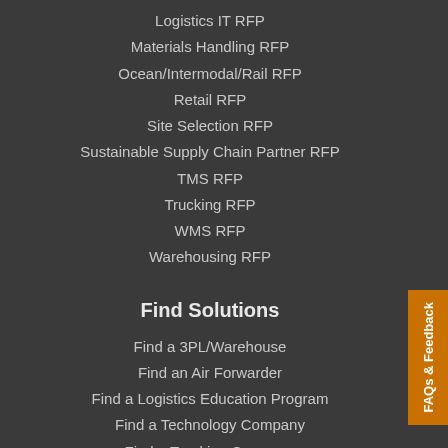Logistics IT RFP
Materials Handling RFP
Ocean/Intermodal/Rail RFP
Retail RFP
Site Selection RFP
Sustainable Supply Chain Partner RFP
TMS RFP
Trucking RFP
WMS RFP
Warehousing RFP
Find Solutions
Find a 3PL/Warehouse
Find an Air Forwarder
Find a Logistics Education Program
Find a Technology Company
Find a Trucking Company
FAQs & Feedback